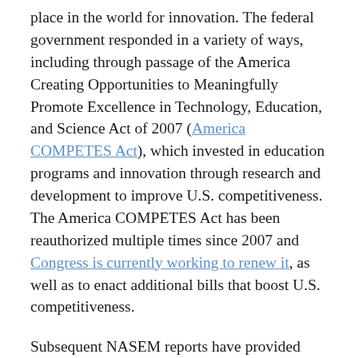place in the world for innovation. The federal government responded in a variety of ways, including through passage of the America Creating Opportunities to Meaningfully Promote Excellence in Technology, Education, and Science Act of 2007 (America COMPETES Act), which invested in education programs and innovation through research and development to improve U.S. competitiveness. The America COMPETES Act has been reauthorized multiple times since 2007 and Congress is currently working to renew it, as well as to enact additional bills that boost U.S. competitiveness.
Subsequent NASEM reports have provided additional guidance on the future of education research and explored how the graduate education system might best respond to new teaching practices which address the needs of students and society. Despite adjustments by federal and state governments to